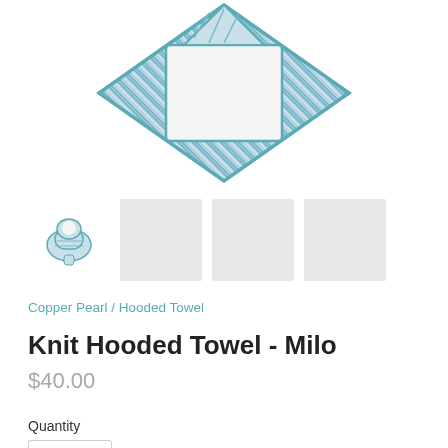[Figure (photo): Baby hooded towel with blue and white diagonal stripes pattern and white terry interior, folded in a diamond/square shape viewed from above, shown on white background. The towel has a blue piped border.]
[Figure (photo): Thumbnail row: first thumbnail shows the hooded towel folded into a bundle/swaddle shape; three additional placeholder grey thumbnail squares for additional product views.]
Copper Pearl / Hooded Towel
Knit Hooded Towel - Milo
$40.00
Quantity
1